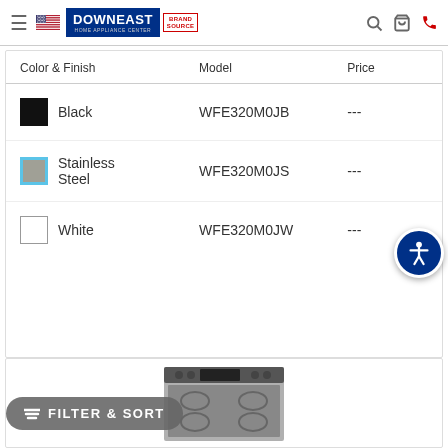Downeast Home Appliance Center — BrandSource
| Color & Finish | Model | Price |
| --- | --- | --- |
| Black | WFE320M0JB | --- |
| Stainless Steel | WFE320M0JS | --- |
| White | WFE320M0JW | --- |
[Figure (photo): Electric range/stove appliance shown at bottom of page]
FILTER & SORT